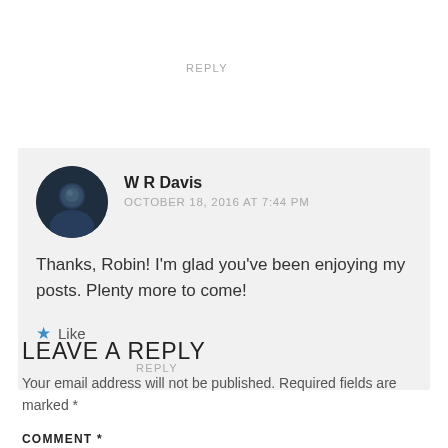REPLY
[Figure (photo): Avatar/profile photo of W R Davis, a person shown in a dark circular thumbnail]
W R Davis
OCTOBER 18, 2016 AT 7:44 PM
Thanks, Robin! I'm glad you've been enjoying my posts. Plenty more to come!
★ Like
REPLY
LEAVE A REPLY
Your email address will not be published. Required fields are marked *
COMMENT *